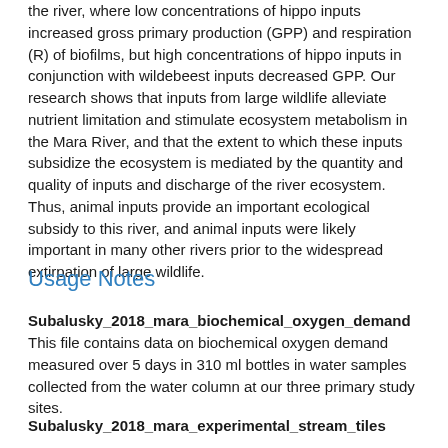the river, where low concentrations of hippo inputs increased gross primary production (GPP) and respiration (R) of biofilms, but high concentrations of hippo inputs in conjunction with wildebeest inputs decreased GPP. Our research shows that inputs from large wildlife alleviate nutrient limitation and stimulate ecosystem metabolism in the Mara River, and that the extent to which these inputs subsidize the ecosystem is mediated by the quantity and quality of inputs and discharge of the river ecosystem. Thus, animal inputs provide an important ecological subsidy to this river, and animal inputs were likely important in many other rivers prior to the widespread extirpation of large wildlife.
Usage Notes
Subalusky_2018_mara_biochemical_oxygen_demand
This file contains data on biochemical oxygen demand measured over 5 days in 310 ml bottles in water samples collected from the water column at our three primary study sites.
Subalusky_2018_mara_experimental_stream_tiles